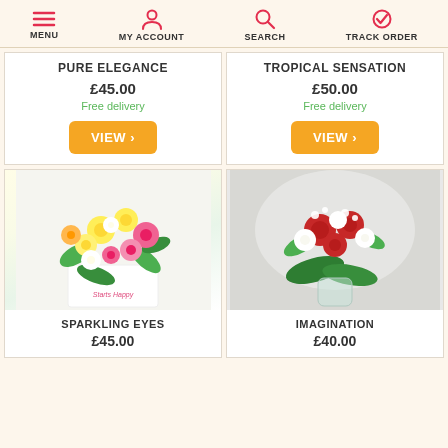MENU | MY ACCOUNT | SEARCH | TRACK ORDER
PURE ELEGANCE
£45.00
Free delivery
TROPICAL SENSATION
£50.00
Free delivery
[Figure (photo): Bouquet of colorful flowers (Sparkling Eyes) in a white branded box]
SPARKLING EYES
£45.00
[Figure (photo): Bouquet of red and white flowers (Imagination) in a glass vase on a light background]
IMAGINATION
£40.00